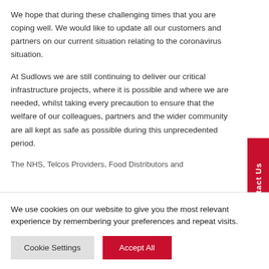We hope that during these challenging times that you are coping well. We would like to update all our customers and partners on our current situation relating to the coronavirus situation.
At Sudlows we are still continuing to deliver our critical infrastructure projects, where it is possible and where we are needed, whilst taking every precaution to ensure that the welfare of our colleagues, partners and the wider community are all kept as safe as possible during this unprecedented period.
The NHS, Telcos Providers, Food Distributors and
We use cookies on our website to give you the most relevant experience by remembering your preferences and repeat visits.
Cookie Settings
Accept All